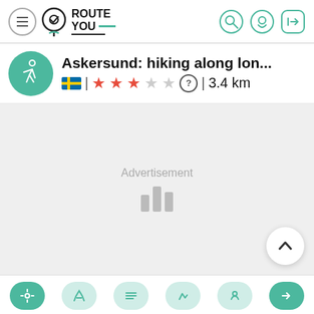RouteYou
Askersund: hiking along lon...
🇸🇪 | ★★★☆☆ | 3.4 km
[Figure (screenshot): Advertisement placeholder area with loading bars]
Bottom navigation bar with icons